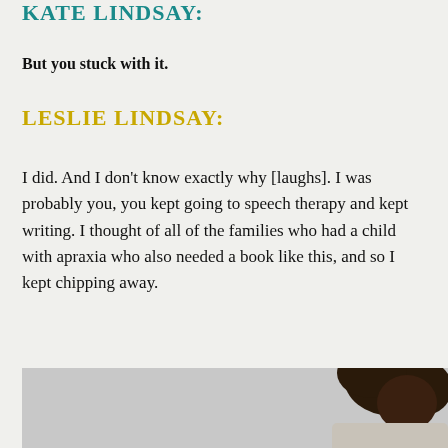KATE LINDSAY:
But you stuck with it.
LESLIE LINDSAY:
I did. And I don't know exactly why [laughs]. I was probably you, you kept going to speech therapy and kept writing. I thought of all of the families who had a child with apraxia who also needed a book like this, and so I kept chipping away.
[Figure (photo): Partial photo showing a person with dark curly hair against a light grey background, cropped at the bottom of the page.]